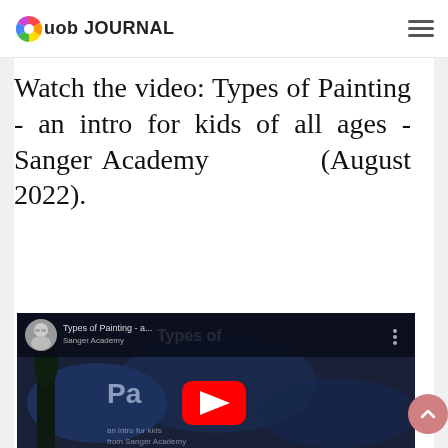uob JOURNAL
Watch the video: Types of Painting - an intro for kids of all ages - Sanger Academy (August 2022).
[Figure (screenshot): YouTube video thumbnail for 'Types of Painting - a...' by Sanger Academy, showing a red YouTube play button and text overlay on a dark painted background. Includes a circular avatar of a man in glasses.]